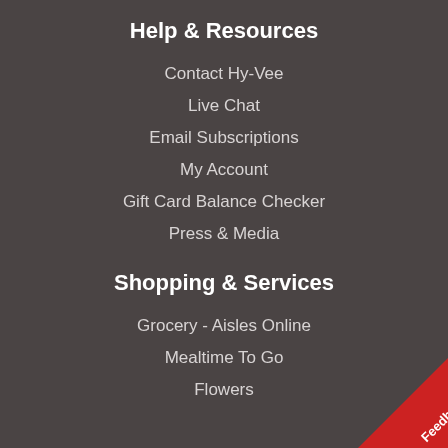Help & Resources
Contact Hy-Vee
Live Chat
Email Subscriptions
My Account
Gift Card Balance Checker
Press & Media
Shopping & Services
Grocery - Aisles Online
Mealtime To Go
Flowers